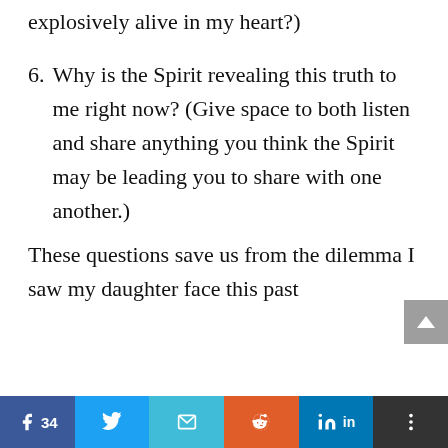explosively alive in my heart?)
6. Why is the Spirit revealing this truth to me right now? (Give space to both listen and share anything you think the Spirit may be leading you to share with one another.)
These questions save us from the dilemma I saw my daughter face this past
[Figure (other): Scroll-to-top button (grey arrow up)]
[Figure (other): Social sharing bar with Facebook (34 likes), Twitter, Email, Reddit, LinkedIn, and More buttons]